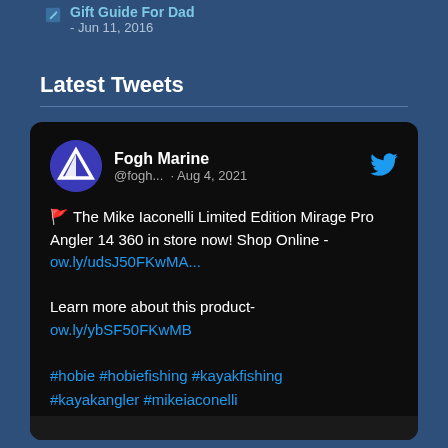Gift Guide For Dad - Jun 11, 2016
Latest Tweets
[Figure (screenshot): A Twitter/social media card embed showing a tweet from Fogh Marine (@fogh...) posted Aug 4, 2021. Tweet text: 🚩 The Mike Iaconelli Limited Edition Mirage Pro Angler 14 360 in store now! Shop Online - ow.ly/udsJ50FKwMA... Learn more about this product- ow.ly/ybSF50FKwMB #hobie #hobiefishing #kayakfishing #kayakangler #mikeiaconelli #specialeditionkayak #specialgraphics]